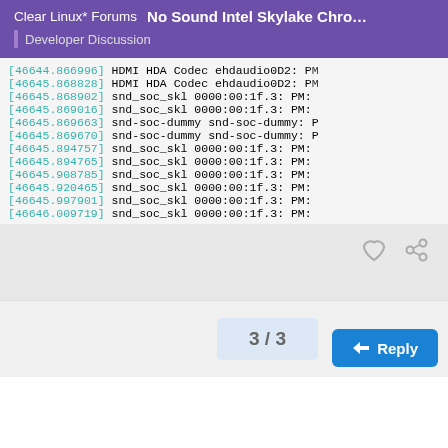Clear Linux* Forums | No Sound Intel Skylake Chromeb... | Developer Discussion
[46644.866996] HDMI HDA Codec ehdaudio0D2: PM
[46645.868828] HDMI HDA Codec ehdaudio0D2: PM
[46645.868902] snd_soc_skl 0000:00:1f.3: PM:
[46645.869016] snd_soc_skl 0000:00:1f.3: PM:
[46645.869663] snd-soc-dummy snd-soc-dummy: P
[46645.869670] snd-soc-dummy snd-soc-dummy: P
[46645.894757] snd_soc_skl 0000:00:1f.3: PM:
[46645.894765] snd_soc_skl 0000:00:1f.3: PM:
[46645.908785] snd_soc_skl 0000:00:1f.3: PM:
[46645.920465] snd_soc_skl 0000:00:1f.3: PM:
[46645.997901] snd_soc_skl 0000:00:1f.3: PM:
[46646.009719] snd_soc_skl 0000:00:1f.3: PM:
3 / 3
Reply